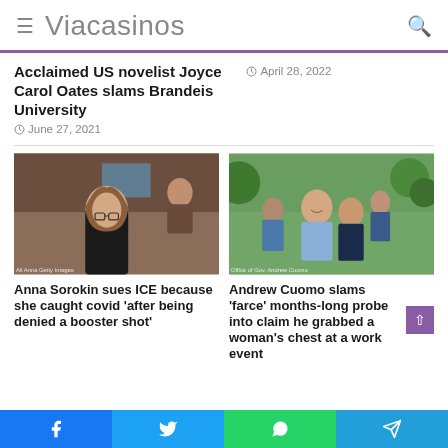Viacasinos
Acclaimed US novelist Joyce Carol Oates slams Brandeis University
June 27, 2021
April 28, 2022
[Figure (photo): Woman in black turtleneck standing in a courtroom]
[Figure (photo): Andrew Cuomo smiling with a woman at an outdoor event]
Anna Sorokin sues ICE because she caught covid 'after being denied a booster shot'
Andrew Cuomo slams 'farce' months-long probe into claim he grabbed a woman's chest at a work event